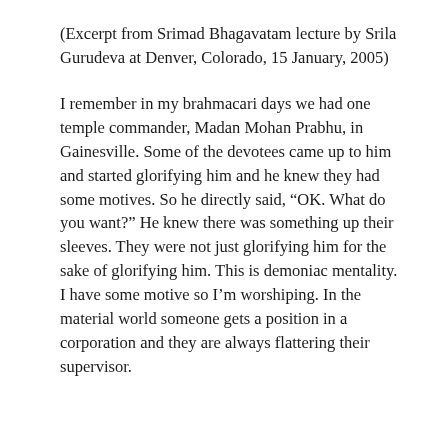(Excerpt from Srimad Bhagavatam lecture by Srila Gurudeva at Denver, Colorado, 15 January, 2005)
I remember in my brahmacari days we had one temple commander, Madan Mohan Prabhu, in Gainesville. Some of the devotees came up to him and started glorifying him and he knew they had some motives. So he directly said, “OK. What do you want?” He knew there was something up their sleeves. They were not just glorifying him for the sake of glorifying him. This is demoniac mentality. I have some motive so I’m worshiping. In the material world someone gets a position in a corporation and they are always flattering their supervisor.